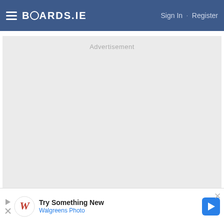BOARDS.IE | Sign In · Register
[Figure (screenshot): Advertisement placeholder — large grey rectangle]
godtabh
Moderators: Science, Health & Environment Moderators
[Figure (screenshot): Bottom advertisement banner: Try Something New — Walgreens Photo, with Walgreens W logo, play/close buttons, and blue navigation arrow icon]